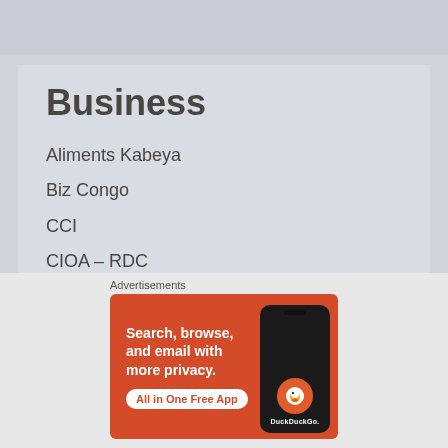Business
Aliments Kabeya
Biz Congo
CCI
CIOA – RDC
Congo Mines
Feronia
GECAMines
OCC
[Figure (screenshot): DuckDuckGo advertisement banner: orange background with text 'Search, browse, and email with more privacy. All in One Free App' and a phone image showing DuckDuckGo app]